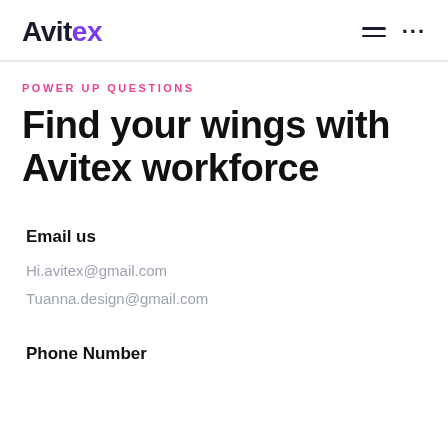Avitex
POWER UP QUESTIONS
Find your wings with Avitex workforce
Email us
Hi.avitex@gmail.com
Tuanna.design@gmail.com
Phone Number